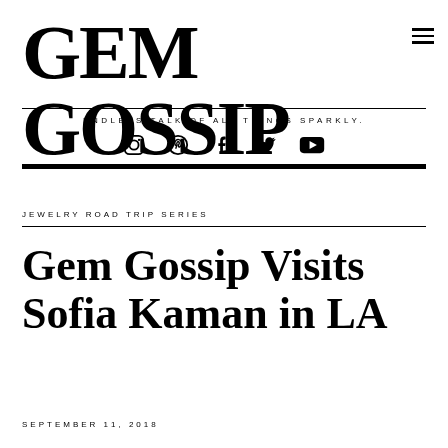GEM GOSSIP
ENDLESS TALK OF ALL THINGS SPARKLY.
[Figure (other): Social media icons: Instagram, Pinterest, Facebook, Twitter, YouTube]
JEWELRY ROAD TRIP SERIES
Gem Gossip Visits Sofia Kaman in LA
SEPTEMBER 11, 2018